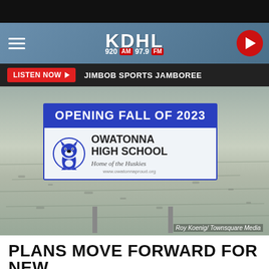[Figure (screenshot): KDHL radio station website header with hamburger menu, KDHL 920 AM 97.9 FM logo, and red play button]
LISTEN NOW ▶   JIMBOB SPORTS JAMBOREE
[Figure (photo): Photo of a sign in a snowy field reading 'OPENING FALL OF 2023' and 'OWATONNA HIGH SCHOOL Home of the Huskies' with a husky mascot logo. Photo credit: Roy Koenig/Townsquare Media]
PLANS MOVE FORWARD FOR NEW